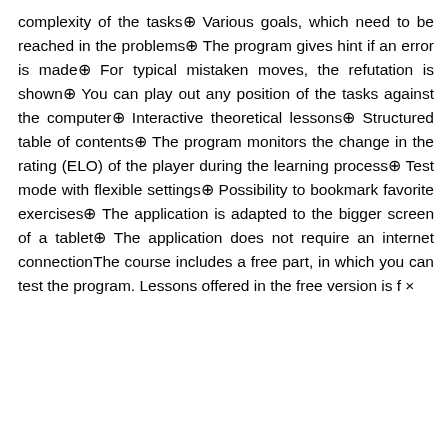complexity of the tasks⊕ Various goals, which need to be reached in the problems⊕ The program gives hint if an error is made⊕ For typical mistaken moves, the refutation is shown⊕ You can play out any position of the tasks against the computer⊕ Interactive theoretical lessons⊕ Structured table of contents⊕ The program monitors the change in the rating (ELO) of the player during the learning process⊕ Test mode with flexible settings⊕ Possibility to bookmark favorite exercises⊕ The application is adapted to the bigger screen of a tablet⊕ The application does not require an internet connectionThe course includes a free part, in which you can test the program. Lessons offered in the free version is f×